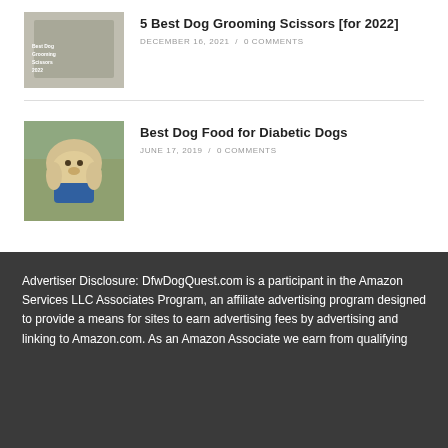[Figure (photo): Thumbnail image of dog grooming scissors article]
5 Best Dog Grooming Scissors [for 2022]
DECEMBER 16, 2021 / 0 COMMENTS
[Figure (photo): Thumbnail image of a yellow Labrador puppy wearing a blue bandana]
Best Dog Food for Diabetic Dogs
JUNE 17, 2019 / 0 COMMENTS
Advertiser Disclosure: DfwDogQuest.com is a participant in the Amazon Services LLC Associates Program, an affiliate advertising program designed to provide a means for sites to earn advertising fees by advertising and linking to Amazon.com. As an Amazon Associate we earn from qualifying